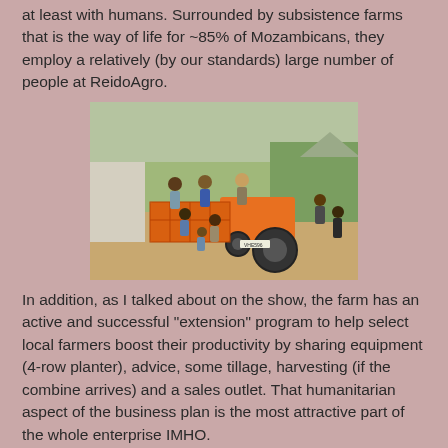at least with humans. Surrounded by subsistence farms that is the way of life for ~85% of Mozambicans, they employ a relatively (by our standards) large number of people at ReidoAgro.
[Figure (photo): Photograph of a group of farm workers loading orange crates onto a tractor trailer in a rural farm setting, with green crop fields and trees visible in the background.]
In addition, as I talked about on the show, the farm has an active and successful "extension" program to help select local farmers boost their productivity by sharing equipment (4-row planter), advice, some tillage, harvesting (if the combine arrives) and a sales outlet. That humanitarian aspect of the business plan is the most attractive part of the whole enterprise IMHO.